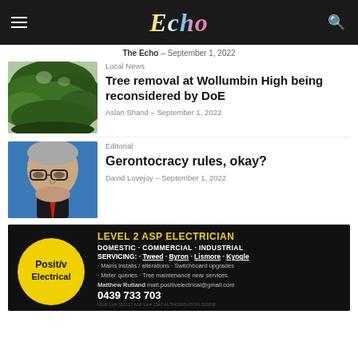Echo – The Echo – September 1, 2022
[Figure (photo): Tree with green foliage against sky]
Local News
Tree removal at Wollumbin High being reconsidered by DoE
Aslan Shand – September 1, 2022
[Figure (photo): Elderly man in glasses against blue background]
Editorial
Gerontocracy rules, okay?
David Lovejoy – September 1, 2022
[Figure (infographic): Positiv Electrical advertisement: Level 2 ASP Electrician. Domestic · Commercial · Industrial. Servicing: Tweed · Byron · Lismore · Kyogle. Mains installs / alterations · Switchboard upgrades · Meter queries · Tree maintenance near services. Matthew Rutland matt.positivelectrical@gmail.com 0439 733 703]